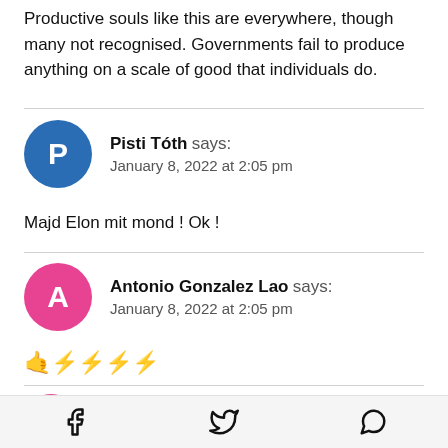Productive souls like this are everywhere, though many not recognised. Governments fail to produce anything on a scale of good that individuals do.
Pisti Tóth says:
January 8, 2022 at 2:05 pm
Majd Elon mit mond ! Ok !
Antonio Gonzalez Lao says:
January 8, 2022 at 2:05 pm
🤙⚡⚡⚡⚡
Antonio Gonzalez Lao says:
Facebook  Twitter  WhatsApp